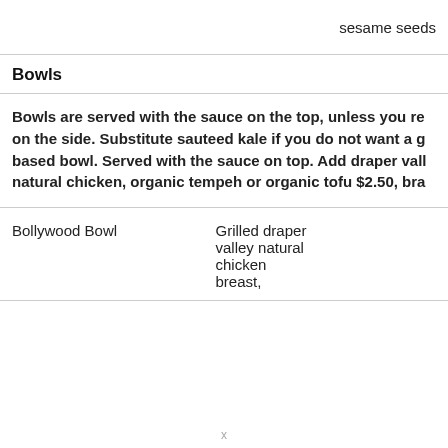sesame seeds
Bowls
Bowls are served with the sauce on the top, unless you re on the side. Substitute sauteed kale if you do not want a g based bowl. Served with the sauce on top. Add draper vall natural chicken, organic tempeh or organic tofu $2.50, bra
Bollywood Bowl
Grilled draper valley natural chicken breast,